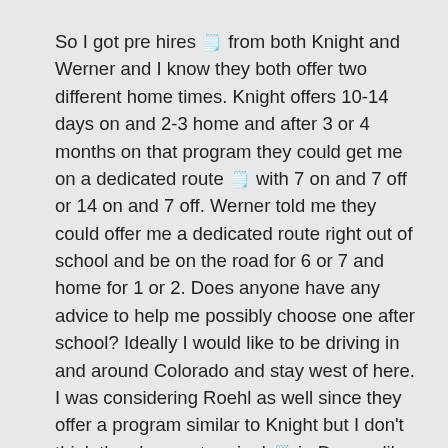So I got pre hires 📋 from both Knight and Werner and I know they both offer two different home times. Knight offers 10-14 days on and 2-3 home and after 3 or 4 months on that program they could get me on a dedicated route 📋 with 7 on and 7 off or 14 on and 7 off. Werner told me they could offer me a dedicated route right out of school and be on the road for 6 or 7 and home for 1 or 2. Does anyone have any advice to help me possibly choose one after school? Ideally I would like to be driving in and around Colorado and stay west of here. I was considering Roehl as well since they offer a program similar to Knight but I don't think they have a terminal 📋 in Denver like the other two. Any advice?